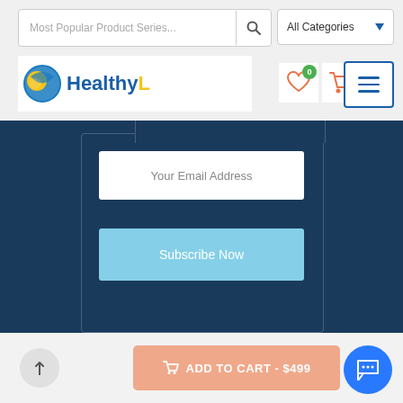[Figure (screenshot): Search bar with placeholder 'Most Popular Product Series...' and search icon, plus 'All Categories' dropdown]
[Figure (logo): HealthyL logo with blue/yellow globe icon and blue/yellow text]
[Figure (screenshot): Dark blue section with email input field, Subscribe Now button, Add to cart button, and wishlist heart button]
[Figure (screenshot): Bottom bar with scroll-to-top arrow, ADD TO CART $499 salmon button, and blue chat bubble]